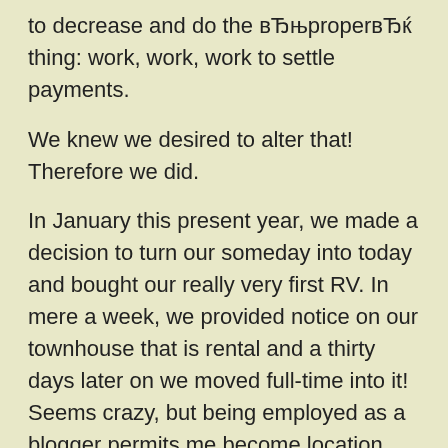to decrease and do the вЂњproperвЂќ thing: work, work, work to settle payments.
We knew we desired to alter that! Therefore we did.
In January this present year, we made a decision to turn our someday into today and bought our really very first RV. In mere a week, we provided notice on our townhouse that is rental and a thirty days later on we moved full-time into it! Seems crazy, but being employed as a blogger permits me become location separate and exactly why perhaps perhaps not live our daydream now?
Think of both you and your families present situation. You to work from anywhere, and you are wanting to show your children the wonders of the world, why not think about traveling full-time as a family if you have a job that allows?